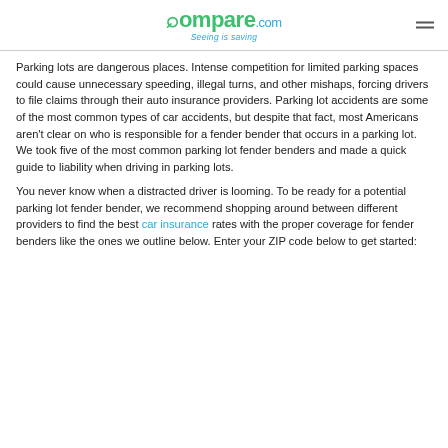Compare.com — Seeing is saving
Parking lots are dangerous places. Intense competition for limited parking spaces could cause unnecessary speeding, illegal turns, and other mishaps, forcing drivers to file claims through their auto insurance providers. Parking lot accidents are some of the most common types of car accidents, but despite that fact, most Americans aren't clear on who is responsible for a fender bender that occurs in a parking lot. We took five of the most common parking lot fender benders and made a quick guide to liability when driving in parking lots.
You never know when a distracted driver is looming. To be ready for a potential parking lot fender bender, we recommend shopping around between different providers to find the best car insurance rates with the proper coverage for fender benders like the ones we outline below. Enter your ZIP code below to get started: